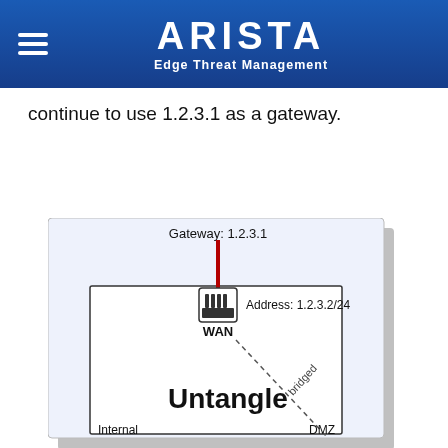ARISTA Edge Threat Management
continue to use 1.2.3.1 as a gateway.
[Figure (network-graph): Network diagram showing Untangle firewall in bridged mode. WAN interface with Address: 1.2.3.2/24 connected to Gateway: 1.2.3.1 via red line from above. A dashed diagonal line labeled 'bridged' crosses the diagram. Internal and DMZ ports shown at bottom.]